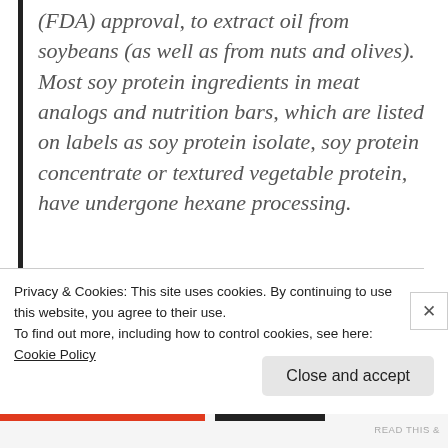(FDA) approval, to extract oil from soybeans (as well as from nuts and olives). Most soy protein ingredients in meat analogs and nutrition bars, which are listed on labels as soy protein isolate, soy protein concentrate or textured vegetable protein, have undergone hexane processing.
There are enough independent studies to prove that hexane can have detrimental effects on
Privacy & Cookies: This site uses cookies. By continuing to use this website, you agree to their use.
To find out more, including how to control cookies, see here:
Cookie Policy
Close and accept